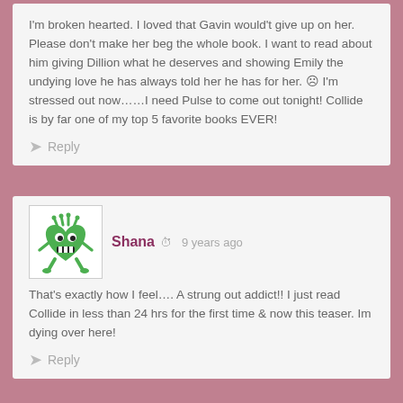I'm broken hearted. I loved that Gavin would't give up on her. Please don't make her beg the whole book. I want to read about him giving Dillion what he deserves and showing Emily the undying love he has always told her he has for her. ☹ I'm stressed out now……I need Pulse to come out tonight! Collide is by far one of my top 5 favorite books EVER!
Reply
Shana · 9 years ago
That's exactly how I feel…. A strung out addict!! I just read Collide in less than 24 hrs for the first time & now this teaser. Im dying over here!
Reply